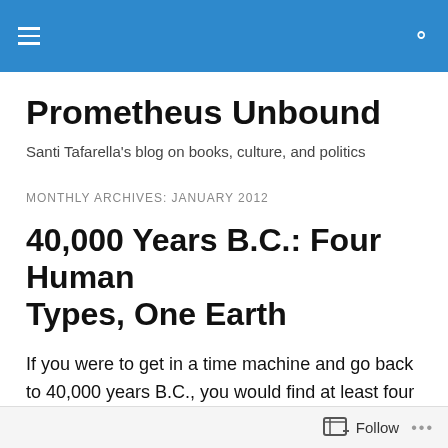Prometheus Unbound — site navigation header bar
Prometheus Unbound
Santi Tafarella's blog on books, culture, and politics
MONTHLY ARCHIVES: JANUARY 2012
40,000 Years B.C.: Four Human Types, One Earth
If you were to get in a time machine and go back to 40,000 years B.C., you would find at least four types of humans on Earth. That, at any rate, is what is reported in the New
Follow  •••